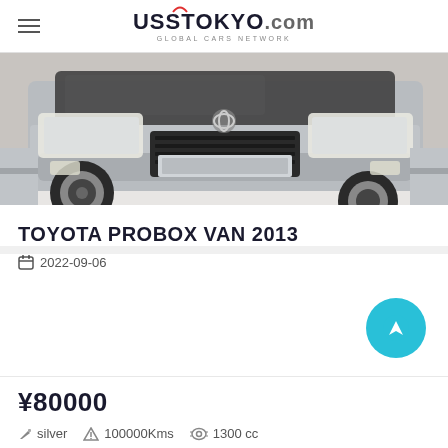UssTokyO.com GLOBAL CARS NETWORK
[Figure (photo): Front view of a silver Toyota Probox Van in a parking/auction facility, showing the grille, bumper, headlights and front wheel]
TOYOTA PROBOX VAN 2013
2022-09-06
¥80000
silver  100000Kms  1300 cc